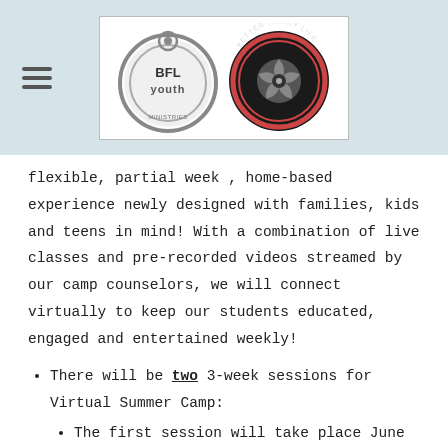[Figure (logo): BFL Youth and Better Family Life logos side by side on a light blue header background with a hamburger menu icon on the left]
flexible, partial week , home-based experience newly designed with families, kids and teens in mind! With a combination of live classes and pre-recorded videos streamed by our camp counselors, we will connect virtually to keep our students educated, engaged and entertained weekly!
There will be two 3-week sessions for Virtual Summer Camp:
The first session will take place June 15th - July 2nd.
The second session will take place July 13th - July 30th.